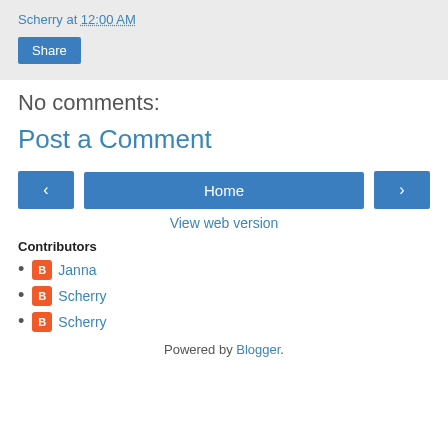Scherry at 12:00 AM
Share
No comments:
Post a Comment
< Home >
View web version
Contributors
Janna
Scherry
Scherry
Powered by Blogger.